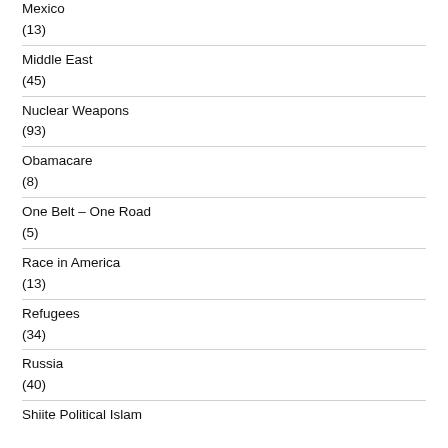Mexico
(13)
Middle East
(45)
Nuclear Weapons
(93)
Obamacare
(8)
One Belt – One Road
(5)
Race in America
(13)
Refugees
(34)
Russia
(40)
Shiite Political Islam